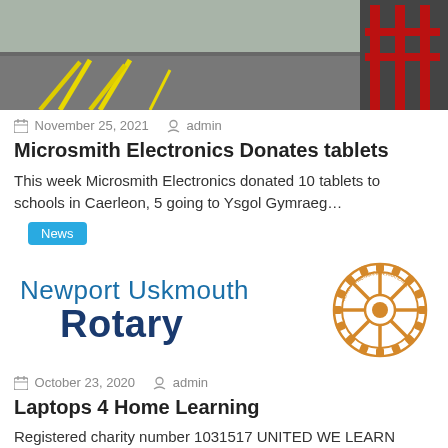[Figure (photo): Outdoor photo showing a school playground or car park with yellow markings on tarmac and red metal railings/fence in the background.]
November 25, 2021   admin
Microsmith Electronics Donates tablets
This week Microsmith Electronics donated 10 tablets to schools in Caerleon, 5 going to Ysgol Gymraeg…
News
[Figure (logo): Newport Uskmouth Rotary logo with text 'Newport Uskmouth' in blue and 'Rotary' in bold dark blue, alongside the Rotary International gear wheel emblem in orange/gold.]
October 23, 2020   admin
Laptops 4 Home Learning
Registered charity number 1031517 UNITED WE LEARN